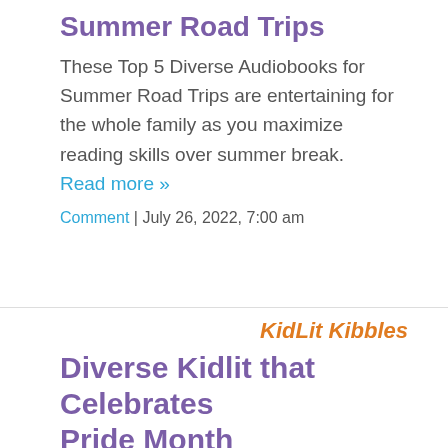Summer Road Trips
These Top 5 Diverse Audiobooks for Summer Road Trips are entertaining for the whole family as you maximize reading skills over summer break.   Read more »
Comment | July 26, 2022, 7:00 am
[Figure (logo): KidLit Kibbles logo in orange italic text]
Diverse Kidlit that Celebrates Pride Month
Because there is a
[Figure (photo): Three book covers for diverse kidlit Pride Month titles]